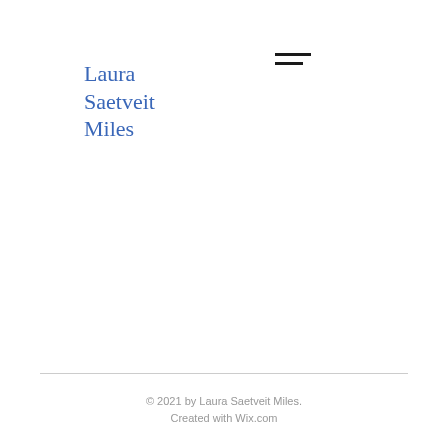Laura Saetveit Miles
[Figure (other): Hamburger menu icon with two horizontal lines]
© 2021 by Laura Saetveit Miles. Created with Wix.com